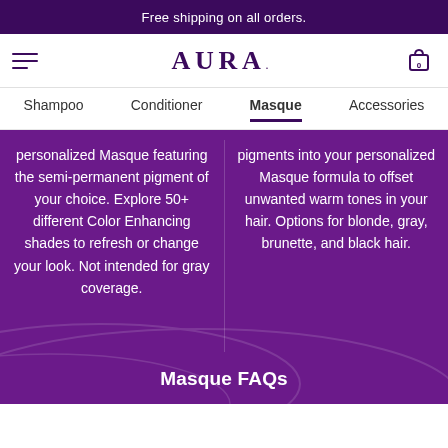Free shipping on all orders.
[Figure (logo): AURA brand logo with hamburger menu and cart icon]
Shampoo  Conditioner  Masque  Accessories
personalized Masque featuring the semi-permanent pigment of your choice. Explore 50+ different Color Enhancing shades to refresh or change your look. Not intended for gray coverage.
pigments into your personalized Masque formula to offset unwanted warm tones in your hair. Options for blonde, gray, brunette, and black hair.
Masque FAQs